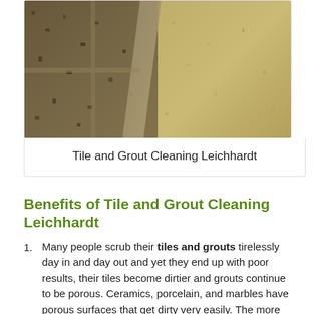[Figure (photo): Close-up photo of tile and grout surfaces showing textured stone/ceramic tiles with grout lines, contrasting darker and lighter tile sections]
Tile and Grout Cleaning Leichhardt
Benefits of Tile and Grout Cleaning Leichhardt
Many people scrub their tiles and grouts tirelessly day in and day out and yet they end up with poor results, their tiles become dirtier and grouts continue to be porous. Ceramics, porcelain, and marbles have porous surfaces that get dirty very easily. The more many people try the more those usual products fail to give